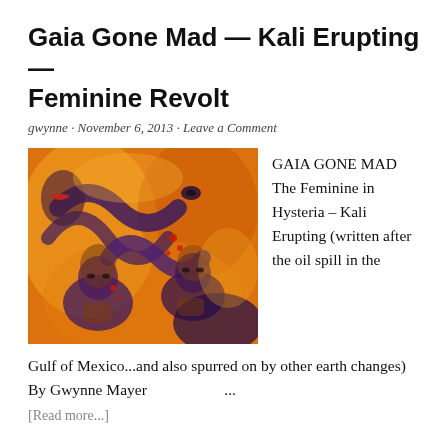Gaia Gone Mad — Kali Erupting — Feminine Revolt
gwynne · November 6, 2013 · Leave a Comment
[Figure (illustration): Abstract colorful artwork with orange tones showing multiple stylized figures with faces, using dark swirling shapes against a warm background with red and orange hues.]
GAIA GONE MAD  The Feminine in Hysteria – Kali Erupting (written after the oil spill in the Gulf of Mexico...and also spurred on by other earth changes)   By Gwynne Mayer                    ...
[Read more...]